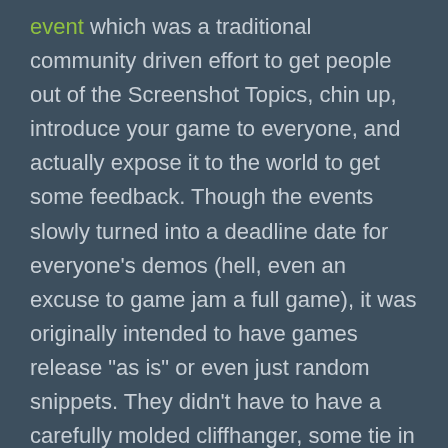event which was a traditional community driven effort to get people out of the Screenshot Topics, chin up, introduce your game to everyone, and actually expose it to the world to get some feedback. Though the events slowly turned into a deadline date for everyone's demos (hell, even an excuse to game jam a full game), it was originally intended to have games release "as is" or even just random snippets. They didn't have to have a carefully molded cliffhanger, some tie in to the next chapter or even some bombastic intro. Aside from making sure the "Start Event" was in the right spot and things lined up, the work in progress clunky-ness was the whole point.